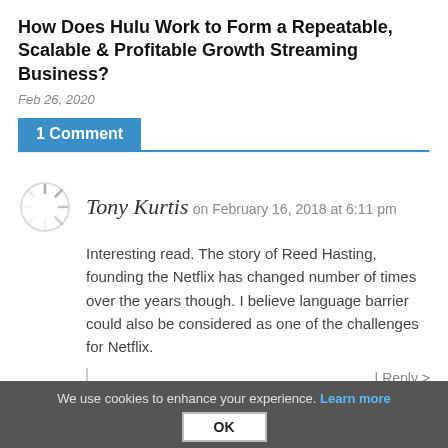How Does Hulu Work to Form a Repeatable, Scalable & Profitable Growth Streaming Business?
Feb 26, 2020
1 Comment
Tony Kurtis on February 16, 2018 at 6:11 pm
Interesting read. The story of Reed Hasting, founding the Netflix has changed number of times over the years though. I believe language barrier could also be considered as one of the challenges for Netflix.
Reply >
Leave a Reply
We use cookies to enhance your experience. Learn more
OK